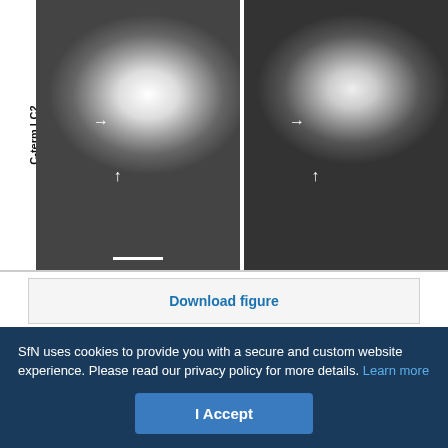[Figure (photo): Two side-by-side fluorescence/electron microscopy images labeled C-term LC2, each showing cellular structures with white arrows pointing to specific features. A scale bar is visible in the left image.]
Download figure
Open in new tab
Download powerpoint
Fig. 6.
SfN uses cookies to provide you with a secure and custom website experience. Please read our privacy policy for more details. Learn more
I Accept